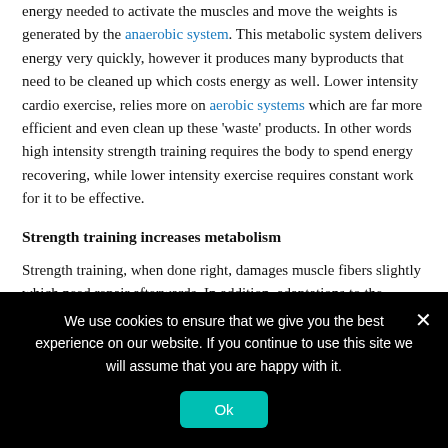energy needed to activate the muscles and move the weights is generated by the anaerobic system. This metabolic system delivers energy very quickly, however it produces many byproducts that need to be cleaned up which costs energy as well. Lower intensity cardio exercise, relies more on aerobic systems which are far more efficient and even clean up these 'waste' products. In other words high intensity strength training requires the body to spend energy recovering, while lower intensity exercise requires constant work for it to be effective.
Strength training increases metabolism
Strength training, when done right, damages muscle fibers slightly which need repair afterwards. In addition, adaptations to the muscle are necessary after training such as increasing strength. Recovering from training and adapting to it cost energy and therefore raise metabolism above resting levels for up to a few days. Moreover, since muscle tissue needs a constant supply of energy, even when it is inactive, increasing
We use cookies to ensure that we give you the best experience on our website. If you continue to use this site we will assume that you are happy with it.